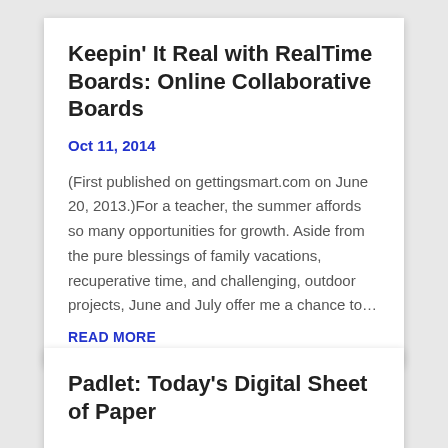Keepin' It Real with RealTime Boards: Online Collaborative Boards
Oct 11, 2014
(First published on gettingsmart.com on June 20, 2013.)For a teacher, the summer affords so many opportunities for growth. Aside from the pure blessings of family vacations, recuperative time, and challenging, outdoor projects, June and July offer me a chance to…
READ MORE
Padlet: Today's Digital Sheet of Paper